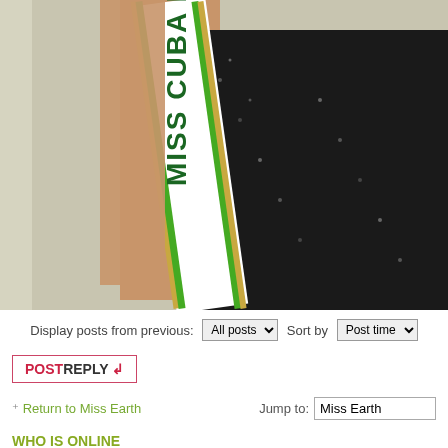[Figure (photo): A woman wearing a black sequined dress and a white sash/banner reading 'MISS CUBA E...' with green and gold trim, photographed from the torso down]
Display posts from previous: All posts  Sort by  Post time
POSTREPLY
Return to Miss Earth   Jump to:  Miss Earth
WHO IS ONLINE
Users browsing this forum: ClubEarthMisso, jamesmarx, mulholland, supladoman, y...